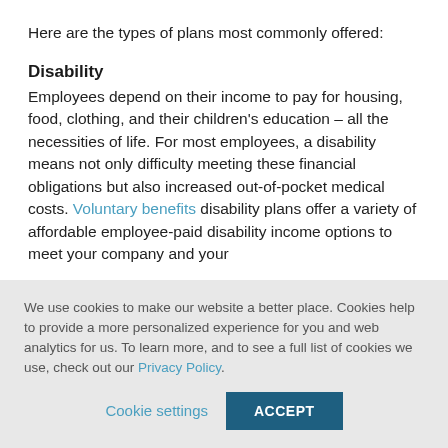Here are the types of plans most commonly offered:
Disability
Employees depend on their income to pay for housing, food, clothing, and their children's education – all the necessities of life. For most employees, a disability means not only difficulty meeting these financial obligations but also increased out-of-pocket medical costs. Voluntary benefits disability plans offer a variety of affordable employee-paid disability income options to meet your company and your
We use cookies to make our website a better place. Cookies help to provide a more personalized experience for you and web analytics for us. To learn more, and to see a full list of cookies we use, check out our Privacy Policy.
Cookie settings
ACCEPT